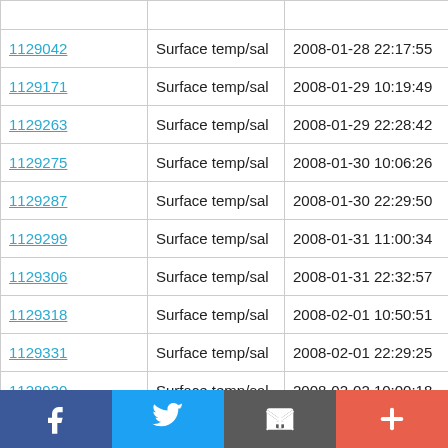| ID | Type | DateTime | Value |
| --- | --- | --- | --- |
| 1129042 | Surface temp/sal | 2008-01-28 22:17:55 | 53.336 | |
| 1129171 | Surface temp/sal | 2008-01-29 10:19:49 | 53.329 | |
| 1129263 | Surface temp/sal | 2008-01-29 22:28:42 | 53.336 | |
| 1129275 | Surface temp/sal | 2008-01-30 10:06:26 | 53.329 | |
| 1129287 | Surface temp/sal | 2008-01-30 22:29:50 | 53.336 | |
| 1129299 | Surface temp/sal | 2008-01-31 11:00:34 | 53.328 | |
| 1129306 | Surface temp/sal | 2008-01-31 22:32:57 | 53.336 | |
| 1129318 | Surface temp/sal | 2008-02-01 10:50:51 | 53.329 | |
| 1129331 | Surface temp/sal | 2008-02-01 22:29:25 | 53.336 | |
| 1128930 | Surface temp/sal | 2008-02-02 10:00:18 | 53.329 | |